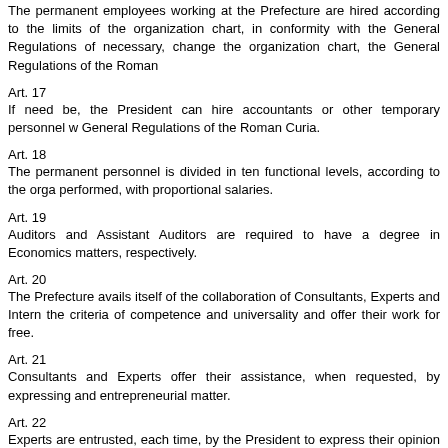The permanent employees working at the Prefecture are hired according to the limits of the organization chart, in conformity with the General Regulations of... necessary, change the organization chart, the General Regulations of the Roman...
Art. 17
If need be, the President can hire accountants or other temporary personnel w... General Regulations of the Roman Curia.
Art. 18
The permanent personnel is divided in ten functional levels, according to the orga... performed, with proportional salaries.
Art. 19
Auditors and Assistant Auditors are required to have a degree in Economics... matters, respectively.
Art. 20
The Prefecture avails itself of the collaboration of Consultants, Experts and Intern... the criteria of competence and universality and offer their work for free.
Art. 21
Consultants and Experts offer their assistance, when requested, by expressing... and entrepreneurial matter.
Art. 22
Experts are entrusted, each time, by the President to express their opinion... professionalism.
Art. 23
The International Auditors, five in number, are professional people with spec... analysis, appointed by the Holy Father for three years. The appointment is renew...
Art. 24